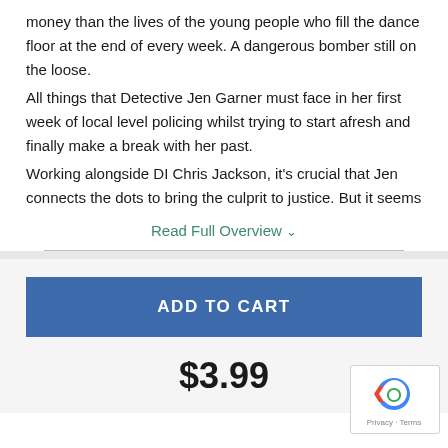money than the lives of the young people who fill the dance floor at the end of every week. A dangerous bomber still on the loose.
All things that Detective Jen Garner must face in her first week of local level policing whilst trying to start afresh and finally make a break with her past.
Working alongside DI Chris Jackson, it's crucial that Jen connects the dots to bring the culprit to justice. But it seems
Read Full Overview ˅
ADD TO CART
$3.99